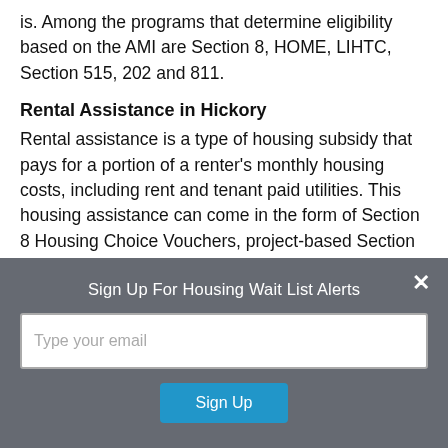is. Among the programs that determine eligibility based on the AMI are Section 8, HOME, LIHTC, Section 515, 202 and 811.
Rental Assistance in Hickory
Rental assistance is a type of housing subsidy that pays for a portion of a renter's monthly housing costs, including rent and tenant paid utilities. This housing assistance can come in the form of Section 8 Housing Choice Vouchers, project-based Section 8 contracts, public housing, USDA Rental Assistance (in Section 515 properties) as well as HUD Section 202 and 811 properties for elderly and
Sign Up For Housing Wait List Alerts
Type your email
Sign Up